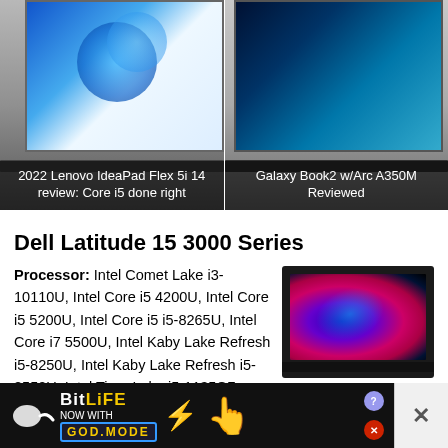[Figure (screenshot): Two laptop product thumbnails side by side: left shows Lenovo IdeaPad Flex 5i with Windows 11 screen, right shows Samsung Galaxy Book2 with dark background]
2022 Lenovo IdeaPad Flex 5i 14 review: Core i5 done right
Galaxy Book2 w/Arc A350M Reviewed
Dell Latitude 15 3000 Series
Processor: Intel Comet Lake i3-10110U, Intel Core i5 4200U, Intel Core i5 5200U, Intel Core i5 i5-8265U, Intel Core i7 5500U, Intel Kaby Lake Refresh i5-8250U, Intel Kaby Lake Refresh i5-8550U, Intel Tiger Lake i5-1135G7
[Figure (photo): Dell Latitude 15 3000 Series laptop with colorful abstract swirl wallpaper on screen]
Graphics Adapter: AMD Radeon 530, AMD Radeon HD 8850M, Intel HD Graphics 5500, Intel Iris Xe G7 80EUs, Intel HD Graphics 630, NVIDIA GeForce 920M
[Figure (screenshot): BitLife advertisement banner - NOW WITH GOD MODE]